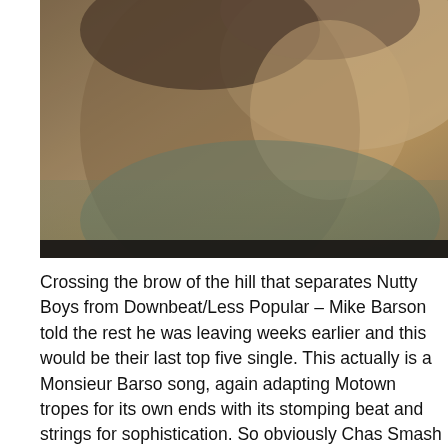[Figure (photo): A blurry close-up photograph of a person, showing warm brown and tan tones with a dark band at the bottom of the image.]
Crossing the brow of the hill that separates Nutty Boys from Downbeat/Less Popular – Mike Barson told the rest he was leaving weeks earlier and this would be their last top five single. This actually is a Monsieur Barso song, again adapting Motown tropes for its own ends with its stomping beat and strings for sophistication. So obviously Chas Smash put out a message to his imprisoned brother on Top Of The Pops, which earned them another studio b...